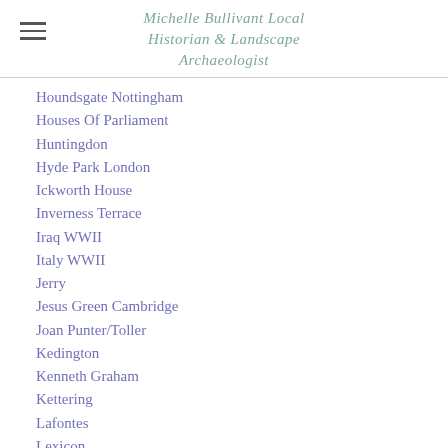Michelle Bullivant Local Historian & Landscape Archaeologist
Houndsgate Nottingham
Houses Of Parliament
Huntingdon
Hyde Park London
Ickworth House
Inverness Terrace
Iraq WWII
Italy WWII
Jerry
Jesus Green Cambridge
Joan Punter/Toller
Kedington
Kenneth Graham
Kettering
Lafontes
Lexicon
Lillie Langtry